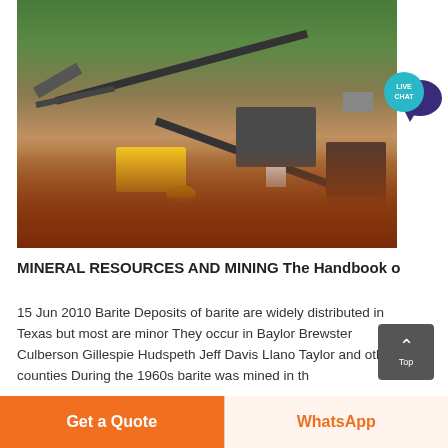[Figure (photo): Aerial view of a mining operation site with conveyor belts, yellow heavy machinery, and red dirt earthworks, with green trees in the background.]
MINERAL RESOURCES AND MINING The Handbook o
15 Jun 2010 Barite Deposits of barite are widely distributed in Texas but most are minor They occur in Baylor Brewster Culberson Gillespie Hudspeth Jeff Davis Llano Taylor and other counties During the 1960s barite was mined in th